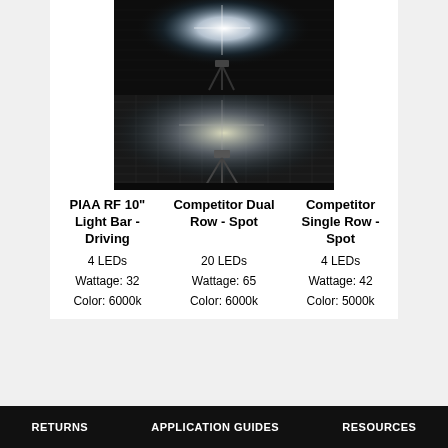[Figure (photo): Two stacked images showing light beam patterns in a dark room with a camera on a tripod: top image shows a bright white light blast, bottom image shows a softer wider beam]
| PIAA RF 10" Light Bar - Driving | Competitor Dual Row - Spot | Competitor Single Row - Spot |
| --- | --- | --- |
| 4 LEDs | 20 LEDs | 4 LEDs |
| Wattage: 32 | Wattage: 65 | Wattage: 42 |
| Color: 6000k | Color: 6000k | Color: 5000k |
RETURNS   APPLICATION GUIDES   RESOURCES